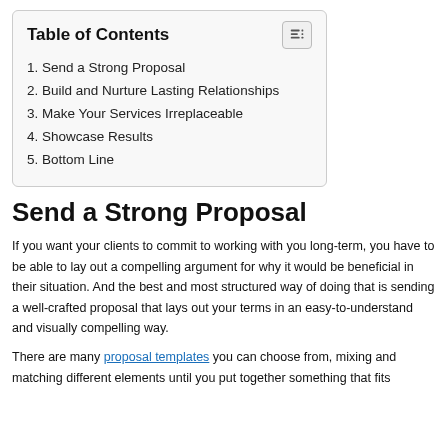Table of Contents
1. Send a Strong Proposal
2. Build and Nurture Lasting Relationships
3. Make Your Services Irreplaceable
4. Showcase Results
5. Bottom Line
Send a Strong Proposal
If you want your clients to commit to working with you long-term, you have to be able to lay out a compelling argument for why it would be beneficial in their situation. And the best and most structured way of doing that is sending a well-crafted proposal that lays out your terms in an easy-to-understand and visually compelling way.
There are many proposal templates you can choose from, mixing and matching different elements until you put together something that fits